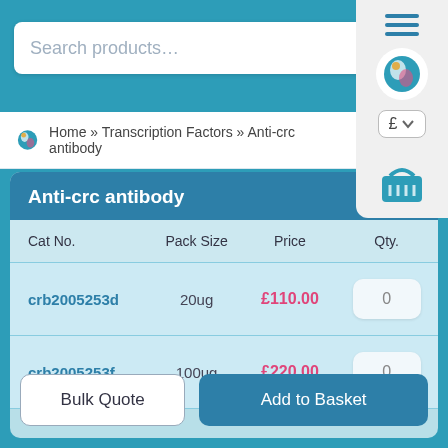Search products…
Home » Transcription Factors » Anti-crc antibody
| Cat No. | Pack Size | Price | Qty. |
| --- | --- | --- | --- |
| crb2005253d | 20ug | £110.00 | 0 |
| crb2005253f | 100ug | £220.00 | 0 |
Bulk Quote
Add to Basket